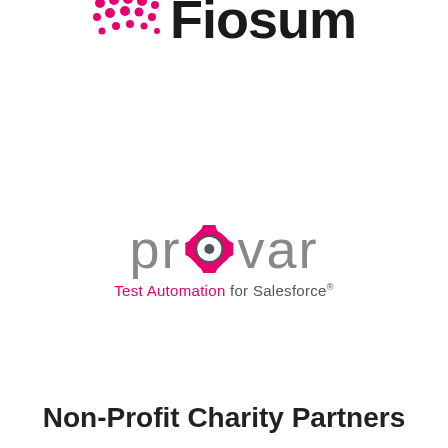[Figure (logo): Fiosum logo — pink dot pattern on left, bold dark text 'Fiosum' on right, partially cropped at top of page]
[Figure (logo): Provar logo — grey text 'provar' with a pink gear/cog replacing the 'o', tagline 'Test Automation for Salesforce®' in pink and grey]
Non-Profit Charity Partners